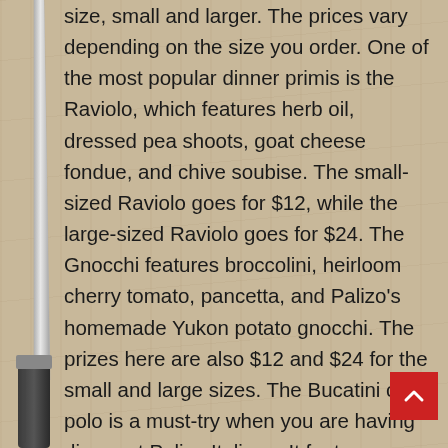size, small and larger. The prices vary depending on the size you order. One of the most popular dinner primis is the Raviolo, which features herb oil, dressed pea shoots, goat cheese fondue, and chive soubise. The small-sized Raviolo goes for $12, while the large-sized Raviolo goes for $24. The Gnocchi features broccolini, heirloom cherry tomato, pancetta, and Palizo's homemade Yukon potato gnocchi. The prizes here are also $12 and $24 for the small and large sizes. The Bucatini con polo is a must-try when you are having dinner at Palizo Italiano. It features shaved parmesan, confit garlic, cream sauce, grilled chicken, and sauteed broccolini. The pappardelle features aromatics, parmesan, red wine, and creamy bolognese sauce. The small and large sizes go for $18 and $26. Pat's Vongole features white wine butter sauce, chili flakes, basil, cherry tomatoes, and manila clams. The Fall Risotta features aromatics, mascarpone, pepitas, and butternut squash. The small size goes for $14 while the large size goes for $24 (which